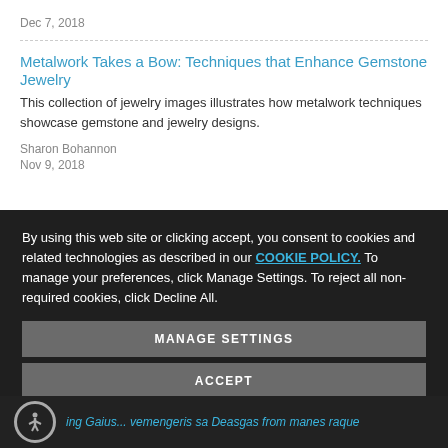Dec 7, 2018
Metalwork Takes a Bow: Techniques that Enhance Gemstone Jewelry
This collection of jewelry images illustrates how metalwork techniques showcase gemstone and jewelry designs.
Sharon Bohannon
Nov 9, 2018
By using this web site or clicking accept, you consent to cookies and related technologies as described in our COOKIE POLICY. To manage your preferences, click Manage Settings. To reject all non-required cookies, click Decline All.
MANAGE SETTINGS
ACCEPT
DECLINE ALL